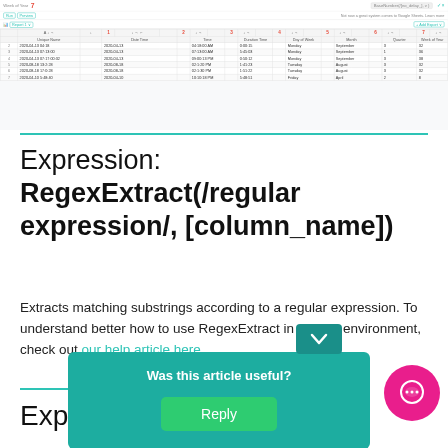[Figure (screenshot): Screenshot of a spreadsheet/report tool showing a table with columns: index, Date Time, Time, Duration Time, Day of Week, Month, Quarter, Week of Year. Contains 6 data rows with dates around 2020. The formula bar shows 'BaseNumber(/ [no_delay_], v )'. A red '7' badge is visible in the toolbar. Run/Preview buttons are shown.]
Expression: RegexExtract(/regular expression/, [column_name])
Extracts matching substrings according to a regular expression. To understand better how to use RegexExtract in Grow's environment, check out our help article here.
[Figure (screenshot): Feedback widget overlay with teal background showing 'Was this article useful?' and a green 'Reply' button. A pink chat bubble icon is shown on the right.]
Expr…